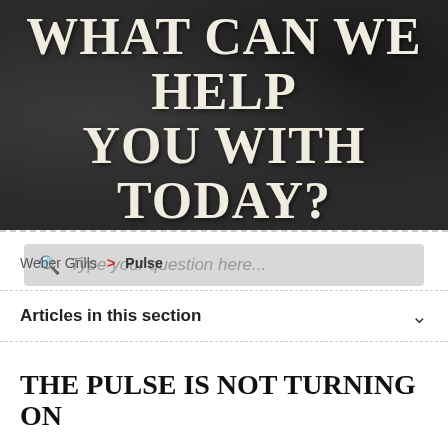WHAT CAN WE HELP YOU WITH TODAY?
[Figure (screenshot): Search bar with placeholder text 'Type your question here...' on dark background]
Weber Grills > Pulse
Articles in this section
THE PULSE IS NOT TURNING ON